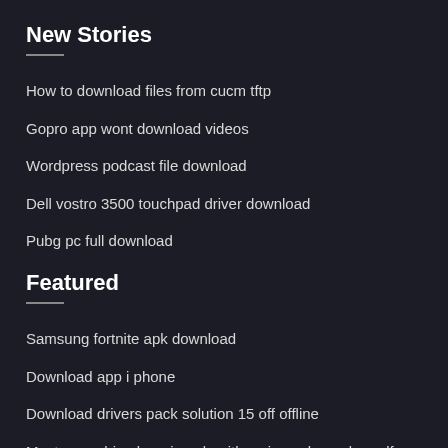New Stories
How to download files from cucm tftp
Gopro app wont download videos
Wordpress podcast file download
Dell vostro 3500 touchpad driver download
Pubg pc full download
Featured
Samsung fortnite apk download
Download app i phone
Download drivers pack solution 15 off offline
Master machine learning algorithms jason brownlee pdf download
Monster musume pc game download